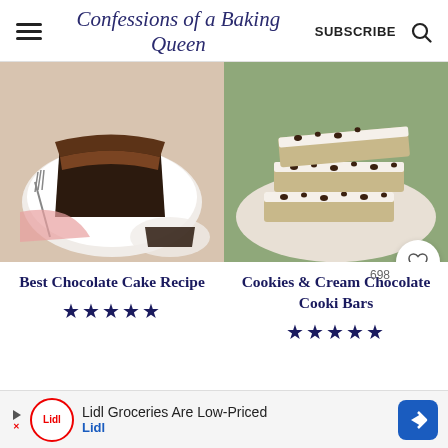Confessions of a Baking Queen | SUBSCRIBE
[Figure (photo): Slice of chocolate cake with chocolate frosting on a white plate, with a fork beside it]
[Figure (photo): Stack of Cookies and Cream Chocolate Cookie Bars on a ceramic plate with green cloth]
Best Chocolate Cake Recipe
★★★★★
Cookies & Cream Chocolate Cooki Bars
698
★★★★★
Lidl Groceries Are Low-Priced | Lidl